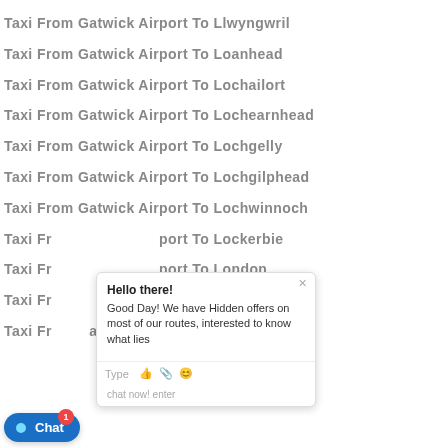Taxi From Gatwick Airport To Llwyngwril
Taxi From Gatwick Airport To Loanhead
Taxi From Gatwick Airport To Lochailort
Taxi From Gatwick Airport To Lochearnhead
Taxi From Gatwick Airport To Lochgelly
Taxi From Gatwick Airport To Lochgilphead
Taxi From Gatwick Airport To Lochwinnoch
Taxi From Gatwick Airport To Lockerbie
Taxi From Gatwick Airport To London
Taxi From Gatwick Airport To Londonderry
Taxi From Gatwick Airport To Longfield